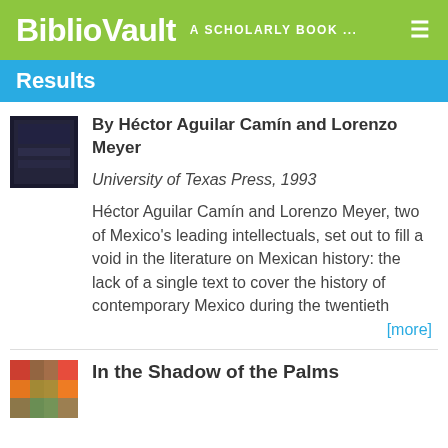BiblioVault  A SCHOLARLY BOOK ...
Results
[Figure (photo): Book cover thumbnail, dark background]
By Héctor Aguilar Camín and Lorenzo Meyer
University of Texas Press, 1993
Héctor Aguilar Camín and Lorenzo Meyer, two of Mexico's leading intellectuals, set out to fill a void in the literature on Mexican history: the lack of a single text to cover the history of contemporary Mexico during the twentieth
[more]
[Figure (photo): Book cover thumbnail, colorful abstract]
In the Shadow of the Palms